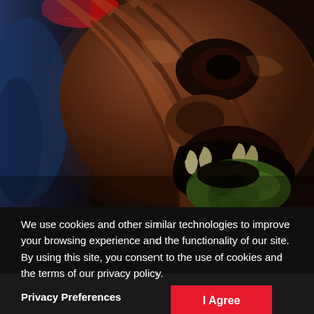[Figure (photo): Close-up photo of a menacing fantasy creature or monster face with open mouth showing teeth, dark reddish-brown skin with green slime/teeth, dramatic lighting against dark background]
We use cookies and other similar technologies to improve your browsing experience and the functionality of our site. By using this site, you consent to the use of cookies and the terms of our privacy policy.
Privacy Preferences
I Agree